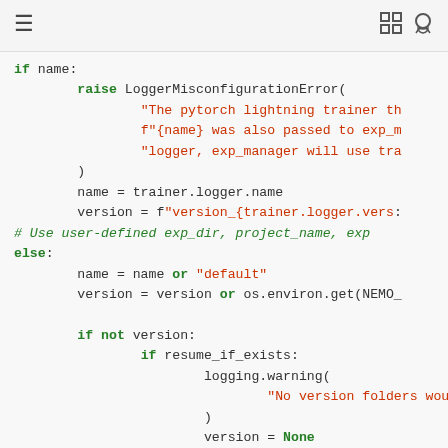≡  [icons: expand, github]
Code snippet showing Python logging configuration with if/else blocks, raise LoggerMisconfigurationError, trainer.logger.name, trainer.logger.version, name or 'default', os.environ.get, resume_if_exists, logging.warning, version = None, elif is_global_rank_zero, use_datetime_version, time.strftime